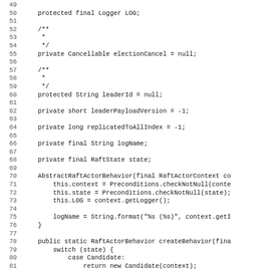Code listing lines 49-81: Java source code for AbstractRaftActorBehavior class fields and constructor
50    protected final Logger LOG;
52    /**
53     *
54     */
55    private Cancellable electionCancel = null;
57    /**
58     *
59     */
60    protected String leaderId = null;
62    private short leaderPayloadVersion = -1;
64    private long replicatedToAllIndex = -1;
66    private final String logName;
68    private final RaftState state;
70    AbstractRaftActorBehavior(final RaftActorContext co
71        this.context = Preconditions.checkNotNull(conte
72        this.state = Preconditions.checkNotNull(state);
73        this.LOG = context.getLogger();
75        logName = String.format("%s (%s)", context.getI
76    }
78    public static RaftActorBehavior createBehavior(fina
79        switch (state) {
80            case Candidate:
81                return new Candidate(context);